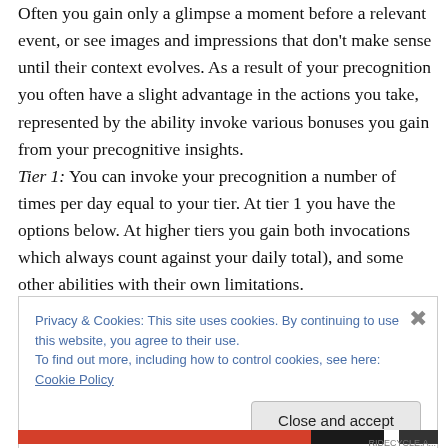Often you gain only a glimpse a moment before a relevant event, or see images and impressions that don't make sense until their context evolves. As a result of your precognition you often have a slight advantage in the actions you take, represented by the ability invoke various bonuses you gain from your precognitive insights. Tier 1: You can invoke your precognition a number of times per day equal to your tier. At tier 1 you have the options below. At higher tiers you gain both invocations which always count against your daily total), and some other abilities with their own limitations.
Privacy & Cookies: This site uses cookies. By continuing to use this website, you agree to their use. To find out more, including how to control cookies, see here: Cookie Policy
Close and accept